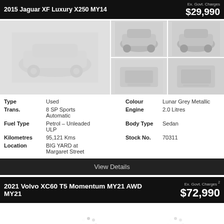2015 Jaguar XF Luxury X250 MY14
Ex. Govt. Charges $29,990
[Figure (photo): Photo gallery of 2015 Jaguar XF Luxury X250 MY14 - main exterior shot and four thumbnails showing exterior and interior views]
| Attribute | Value | Attribute | Value |
| --- | --- | --- | --- |
| Type | Used | Colour | Lunar Grey Metallic |
| Trans. | 8 SP Sports Automatic | Engine | 2.0 Litres |
| Fuel Type | Petrol – Unleaded ULP | Body Type | Sedan |
| Kilometres | 95,121 Kms | Stock No. | 70311 |
| Location | BIG YARD at Margaret Street |  |  |
View Details
2021 Volvo XC60 T5 Momentum MY21 AWD MY21
Ex. Govt. Charges 2 $72,990